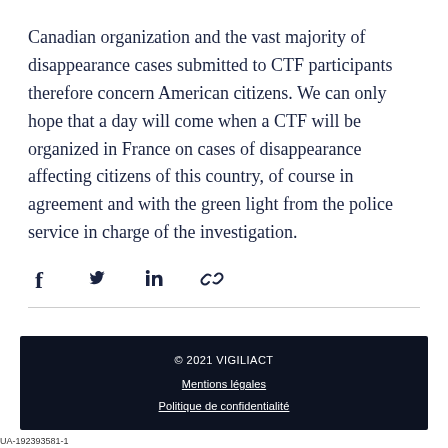Canadian organization and the vast majority of disappearance cases submitted to CTF participants therefore concern American citizens. We can only hope that a day will come when a CTF will be organized in France on cases of disappearance affecting citizens of this country, of course in agreement and with the green light from the police service in charge of the investigation.
[Figure (other): Social share icons row: Facebook, Twitter, LinkedIn, and link/chain icon]
© 2021 VIGILIACT
Mentions légales
Politique de confidentialité
UA-192393581-1